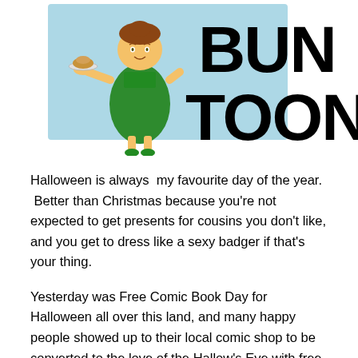[Figure (illustration): Bun Toons logo header with cartoon woman in green dress holding a plate with a bun, standing in front of a light blue rectangle. Large bold black text reads 'BUN TOONS' on the right side.]
Halloween is always  my favourite day of the year.  Better than Christmas because you're not expected to get presents for cousins you don't like, and you get to dress like a sexy badger if that's your thing.
Yesterday was Free Comic Book Day for Halloween all over this land, and many happy people showed up to their local comic shop to be converted to the love of the Hallow's Eve with free comics and fun.